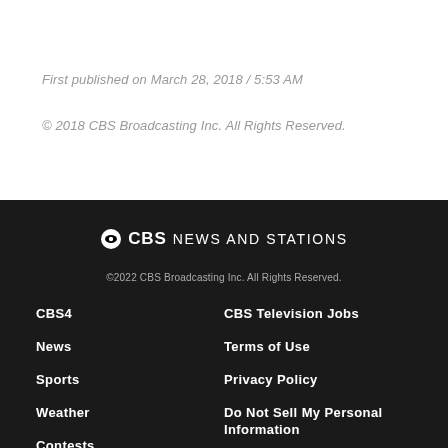First published on March 28, 2018 / 5:53 AM
© 2018 CBS Broadcasting Inc. All Rights Reserved.
CBS NEWS AND STATIONS
©2022 CBS Broadcasting Inc. All Rights Reserved.
CBS4
CBS Television Jobs
News
Terms of Use
Sports
Privacy Policy
Weather
Do Not Sell My Personal Information
Contests
Cookies Policy